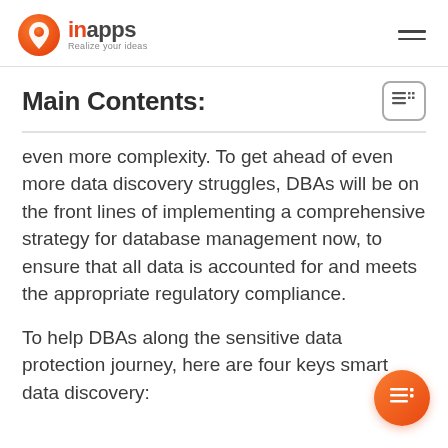inapps — Realize your ideas
Main Contents:
even more complexity. To get ahead of even more data discovery struggles, DBAs will be on the front lines of implementing a comprehensive strategy for database management now, to ensure that all data is accounted for and meets the appropriate regulatory compliance.
To help DBAs along the sensitive data protection journey, here are four keys smart data discovery: